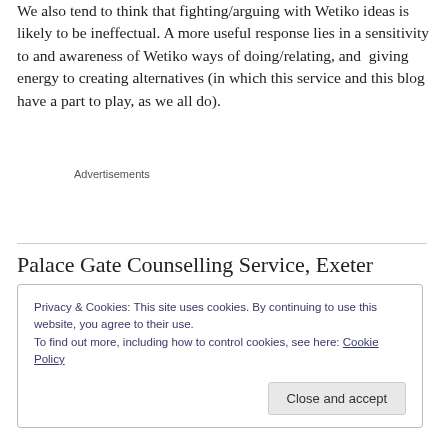We also tend to think that fighting/arguing with Wetiko ideas is likely to be ineffectual. A more useful response lies in a sensitivity to and awareness of Wetiko ways of doing/relating, and  giving energy to creating alternatives (in which this service and this blog have a part to play, as we all do).
Advertisements
Palace Gate Counselling Service, Exeter
Privacy & Cookies: This site uses cookies. By continuing to use this website, you agree to their use.
To find out more, including how to control cookies, see here: Cookie Policy
Close and accept